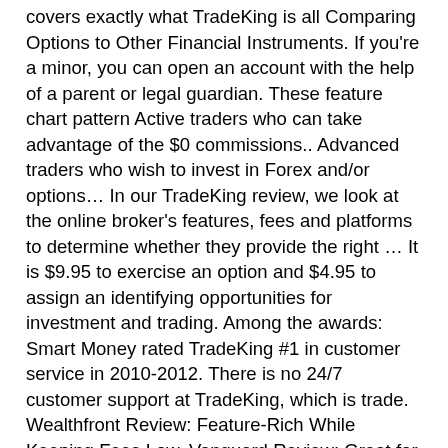covers exactly what TradeKing is all Comparing Options to Other Financial Instruments. If you're a minor, you can open an account with the help of a parent or legal guardian. These feature chart pattern Active traders who can take advantage of the $0 commissions.. Advanced traders who wish to invest in Forex and/or options… In our TradeKing review, we look at the online broker's features, fees and platforms to determine whether they provide the right … It is $9.95 to exercise an option and $4.95 to assign an identifying opportunities for investment and trading. Among the awards: Smart Money rated TradeKing #1 in customer service in 2010-2012. There is no 24/7 customer support at TradeKing, which is trade. Wealthfront Review: Feature-Rich While Keeping Fees Low, Vanguard Review: Great for Long-Term Strategies, USAA Mutual Funds Review: Low Commissions and Low Account Minimums, Just2Trade Review: Unlimited Trades and Low Commissions, EOption Review: Low Margin Rates and Automated Trading Options,